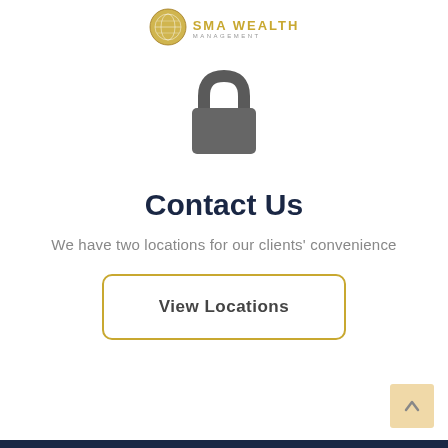[Figure (logo): SMA Wealth Management logo with golden globe icon and text]
[Figure (illustration): Grey padlock icon indicating secure/login area]
Contact Us
We have two locations for our clients' convenience
View Locations